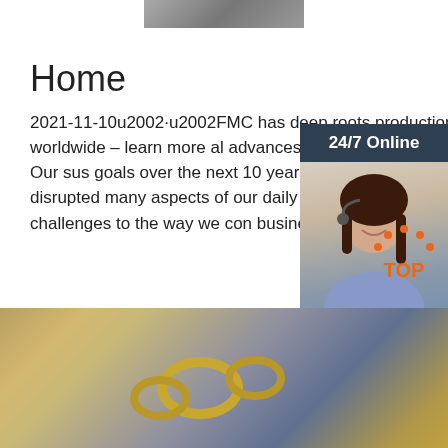[Figure (photo): Partial photo at top of page, showing chain/mechanical equipment]
Home
2021-11-10u2002·u2002FMC has deep roots production system worldwide – learn more al advances in the future of agriculture. Our sus goals over the next 10 years. The COVID-19 has disrupted many aspects of our daily lives presented new challenges to the way we cor business.
[Figure (photo): Sidebar widget showing 24/7 Online chat support with a woman wearing a headset, and a QUOTATION button]
[Figure (other): TOP button with orange dots arranged in arc above orange TOP text]
[Figure (photo): Bottom photo showing industrial chain and machinery in a factory setting]